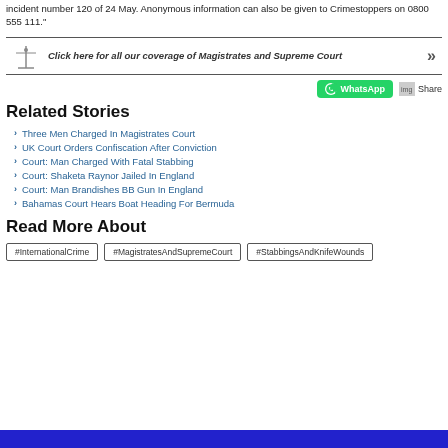incident number 120 of 24 May. Anonymous information can also be given to Crimestoppers on 0800 555 111."
[Figure (infographic): Banner with scales of justice icon and text: Click here for all our coverage of Magistrates and Supreme Court, with double chevron arrow]
[Figure (infographic): WhatsApp share button (green) and Share icon button]
Related Stories
Three Men Charged In Magistrates Court
UK Court Orders Confiscation After Conviction
Court: Man Charged With Fatal Stabbing
Court: Shaketa Raynor Jailed In England
Court: Man Brandishes BB Gun In England
Bahamas Court Hears Boat Heading For Bermuda
Read More About
#InternationalCrime  #MagistratesAndSupremeCourt  #StabbingsAndKnifeWounds